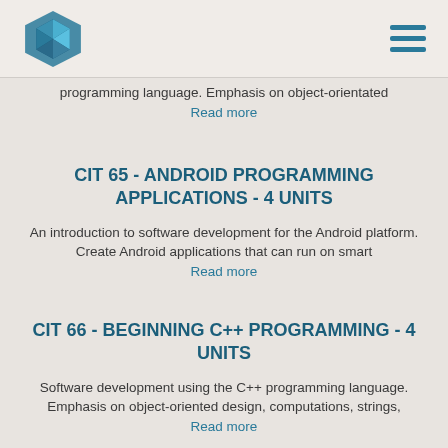programming language. Emphasis on object-orientated
Read more
CIT 65 - ANDROID PROGRAMMING APPLICATIONS - 4 Units
An introduction to software development for the Android platform. Create Android applications that can run on smart
Read more
CIT 66 - BEGINNING C++ PROGRAMMING - 4 Units
Software development using the C++ programming language. Emphasis on object-oriented design, computations, strings,
Read more
CIT 69 - IOS PROGRAMMING APPLICATIONS - 4 Units